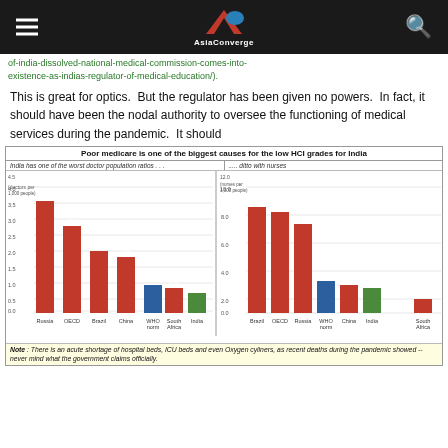AsiaConverge
of-india-dissolved-national-medical-commission-comes-into-existence-as-indias-regulator-of-medical-education/).
This is great for optics. But the regulator has been given no powers. In fact, it should have been the nodal authority to oversee the functioning of medical services during the pandemic. It should
[Figure (grouped-bar-chart): Poor medicare is one of the biggest causes for the low HCI grades for India]
Note: There is an acute shortage of hospital beds, ICU beds and even Oxygen cyliners, as recent deaths during the pandemic showed -- never mind what the government claims officially.